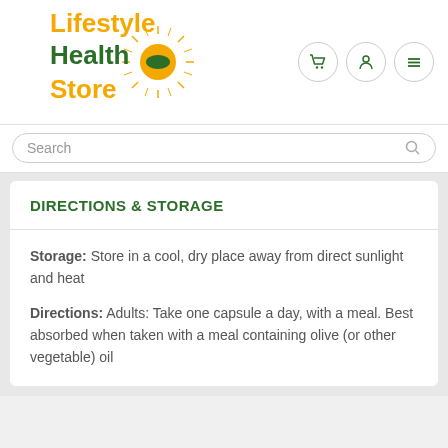[Figure (logo): Lifestyle Health Store logo with sun emblem, orange and green text]
Search
DIRECTIONS & STORAGE
Storage: Store in a cool, dry place away from direct sunlight and heat
Directions: Adults: Take one capsule a day, with a meal. Best absorbed when taken with a meal containing olive (or other vegetable) oil